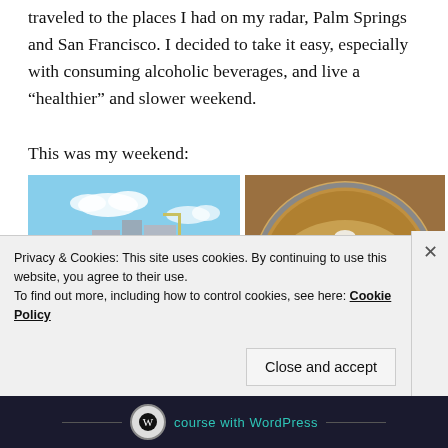traveled to the places I had on my radar, Palm Springs and San Francisco. I decided to take it easy, especially with consuming alcoholic beverages, and live a “healthier” and slower weekend.
This was my weekend:
[Figure (photo): Two side-by-side photos: left shows a city skyline with buildings, cranes, and a Ferris wheel under a blue sky; right shows a bowl of food with white cheese/feta, pink pickled onions, and colorful toppings.]
Privacy & Cookies: This site uses cookies. By continuing to use this website, you agree to their use.
To find out more, including how to control cookies, see here: Cookie Policy
Close and accept
course with WordPress